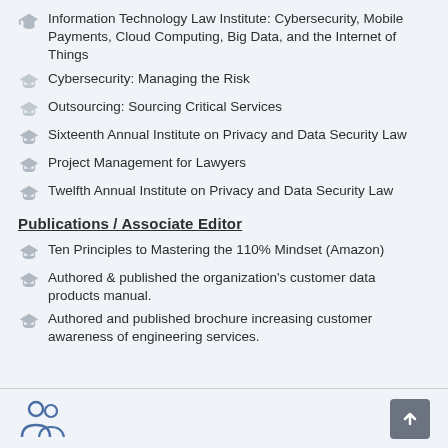Information Technology Law Institute: Cybersecurity, Mobile Payments, Cloud Computing, Big Data, and the Internet of Things
Cybersecurity: Managing the Risk
Outsourcing: Sourcing Critical Services
Sixteenth Annual Institute on Privacy and Data Security Law
Project Management for Lawyers
Twelfth Annual Institute on Privacy and Data Security Law
Publications / Associate Editor
Ten Principles to Mastering the 110% Mindset (Amazon)
Authored & published the organization's customer data products manual.
Authored and published brochure increasing customer awareness of engineering services.